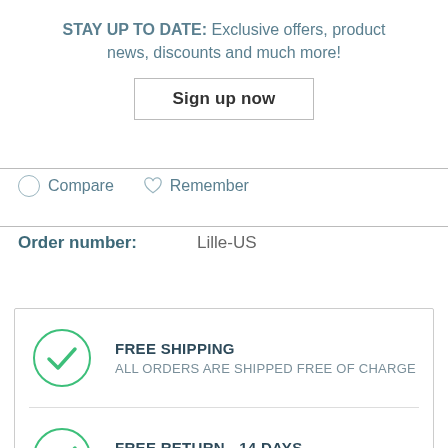STAY UP TO DATE: Exclusive offers, product news, discounts and much more!
Sign up now
Compare   Remember
Order number: Lille-US
FREE SHIPPING
ALL ORDERS ARE SHIPPED FREE OF CHARGE
FREE RETURN - 14 DAYS
EASY AND FREE RETURN